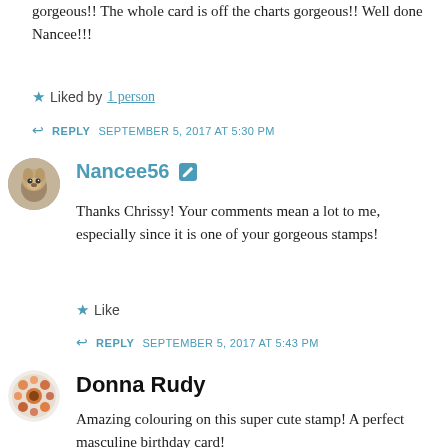gorgeous!! The whole card is off the charts gorgeous!! Well done Nancee!!!
Liked by 1 person
REPLY  SEPTEMBER 5, 2017 AT 5:30 PM
[Figure (photo): Circular avatar photo of a dog (meerkat-like small animal)]
Nancee56
Thanks Chrissy! Your comments mean a lot to me, especially since it is one of your gorgeous stamps!
Like
REPLY  SEPTEMBER 5, 2017 AT 5:43 PM
[Figure (photo): Circular avatar with colorful geometric/floral pattern in orange and brown tones]
Donna Rudy
Amazing colouring on this super cute stamp! A perfect masculine birthday card!